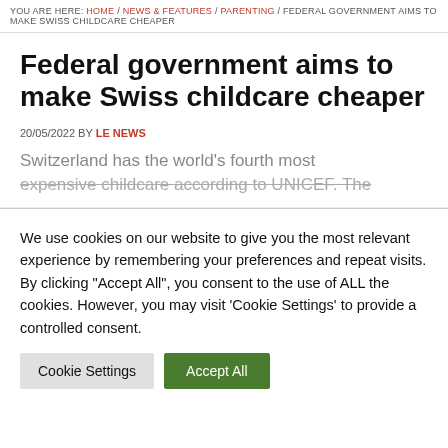YOU ARE HERE: HOME / NEWS & FEATURES / PARENTING / FEDERAL GOVERNMENT AIMS TO MAKE SWISS CHILDCARE CHEAPER
Federal government aims to make Swiss childcare cheaper
20/05/2022 BY LE NEWS
Switzerland has the world's fourth most expensive childcare according to UNICEF. The
We use cookies on our website to give you the most relevant experience by remembering your preferences and repeat visits. By clicking "Accept All", you consent to the use of ALL the cookies. However, you may visit 'Cookie Settings' to provide a controlled consent.
Cookie Settings | Accept All